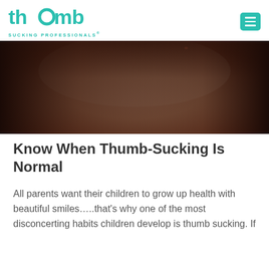thumb SUCKING PROFESSIONALS
[Figure (photo): Close-up photo of a child's thumb or skin, blurred background with dark edges on the left and right, warm skin tones in the center]
Know When Thumb-Sucking Is Normal
All parents want their children to grow up health with beautiful smiles…..that's why one of the most disconcerting habits children develop is thumb sucking. If